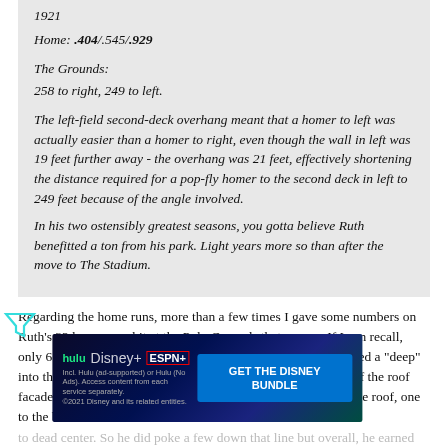1921
Home: .404/.545/.929
The Grounds:
258 to right, 249 to left.
The left-field second-deck overhang meant that a homer to left was actually easier than a homer to right, even though the wall in left was 19 feet further away - the overhang was 21 feet, effectively shortening the distance required for a pop-fly homer to the second deck in left to 249 feet because of the angle involved.
In his two ostensibly greatest seasons, you gotta believe Ruth benefitted a ton from his park. Light years more so than after the move to The Stadium.
Regarding the home runs, more than a few times I gave some numbers on Ruth's 32 home runs hit at the Polo Grounds that season. If I can recall, only 6 went into the lower deck in right and some were described a "deep" into the bleachers. All the rest were into the upper deck. One off the roof facade in RF, some to the power alleys, more than a few over the roof, one to the back row in left center field and two to dead center. So he did poke a few down that line but overall, he earned them.
Until Ri... ...1920, no par... ...self, there was no need. It was Ruth's high drives that brought on the building of the first stadium...